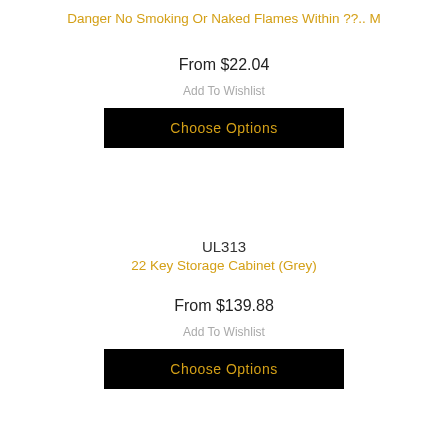Danger No Smoking Or Naked Flames Within ??.. M
From $22.04
Add To Wishlist
Choose Options
UL313
22 Key Storage Cabinet (Grey)
From $139.88
Add To Wishlist
Choose Options